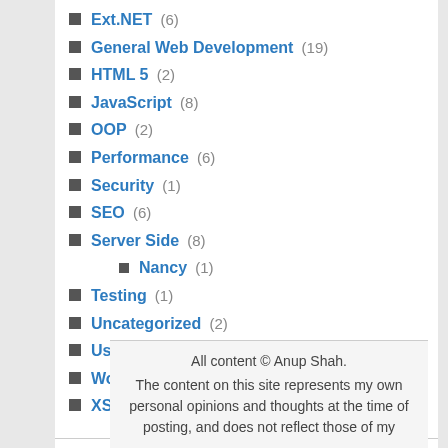Ext.NET (6)
General Web Development (19)
HTML 5 (2)
JavaScript (8)
OOP (2)
Performance (6)
Security (1)
SEO (6)
Server Side (8)
Nancy (1)
Testing (1)
Uncategorized (2)
Usability (5)
WordPress (2)
XSLT (4)
All content © Anup Shah. The content on this site represents my own personal opinions and thoughts at the time of posting, and does not reflect those of my